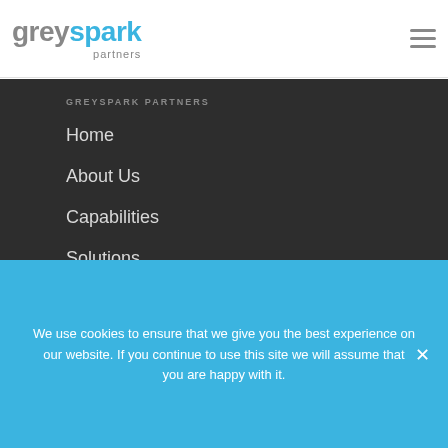[Figure (logo): GreySpark Partners logo — 'grey' in grey, 'spark' in blue, 'partners' in small grey text below]
GREYSPARK PARTNERS
Home
About Us
Capabilities
Solutions
Research
Media
We use cookies to ensure that we give you the best experience on our website. If you continue to use this site we will assume that you are happy with it.